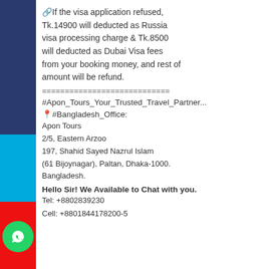🔗If the visa application refused, Tk.14900 will deducted as Russia visa processing charge & Tk.8500 will deducted as Dubai Visa fees from your booking money, and rest of amount will be refund.
============================
#Apon_Tours_Your_Trusted_Travel_Partner...
📍#Bangladesh_Office:
Apon Tours
2/5, Eastern Arzoo
197, Shahid Sayed Nazrul Islam
(61 Bijoynagar), Paltan, Dhaka-1000.
Bangladesh.
Hello Sir! We Available to Chat with you.
Tel: +8802839230
Cell: +8801844178200-5